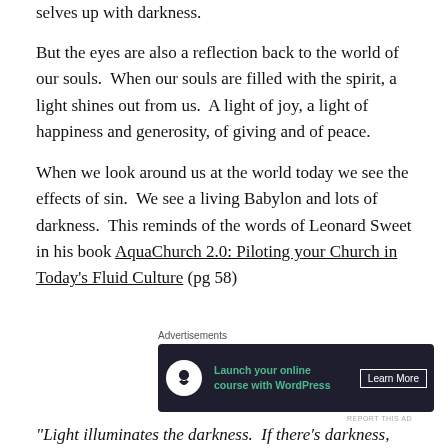selves up with darkness.
But the eyes are also a reflection back to the world of our souls.  When our souls are filled with the spirit, a light shines out from us.  A light of joy, a light of happiness and generosity, of giving and of peace.
When we look around us at the world today we see the effects of sin.  We see a living Babylon and lots of darkness.  This reminds of the words of Leonard Sweet in his book AquaChurch 2.0: Piloting your Church in Today’s Fluid Culture (pg 58)
Advertisements
[Figure (screenshot): Advertisement banner with dark background showing 'Launch your online course with WordPress' with Learn More button]
REPORT THIS AD
“Light illuminates the darkness.  If there’s darkness, the